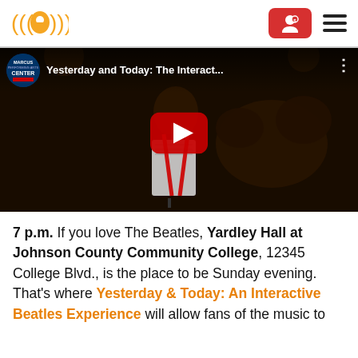Logo and navigation header with red button and hamburger menu
[Figure (screenshot): YouTube video thumbnail showing a man reading papers on stage with drums in background. Video title: 'Yesterday and Today: The Interact...' from Marcus Center for the Performing Arts channel. Red play button overlay in center.]
7 p.m. If you love The Beatles, Yardley Hall at Johnson County Community College, 12345 College Blvd., is the place to be Sunday evening. That’s where Yesterday & Today: An Interactive Beatles Experience will allow fans of the music to